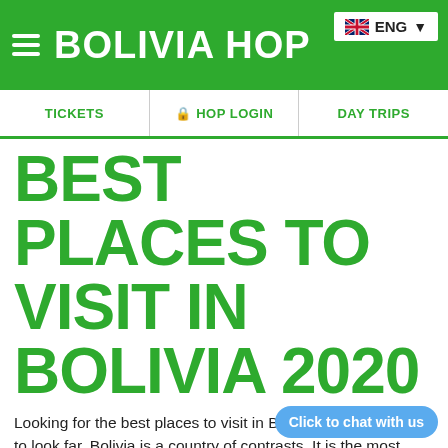BOLIVIA HOP  ENG
TICKETS  HOP LOGIN  DAY TRIPS
BEST PLACES TO VISIT IN BOLIVIA 2020
Looking for the best places to visit in Bolivia? You won't have to look far. Bolivia is a country of contrasts. It is the most impoveris...